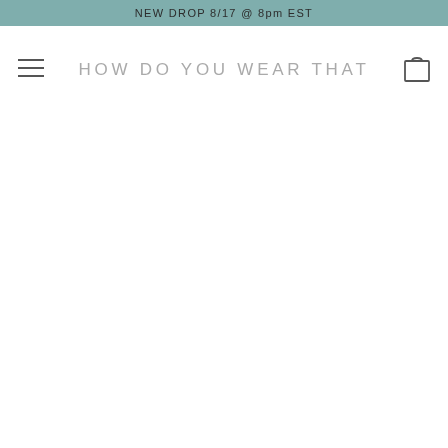NEW DROP 8/17 @ 8pm EST
HOW DO YOU WEAR THAT